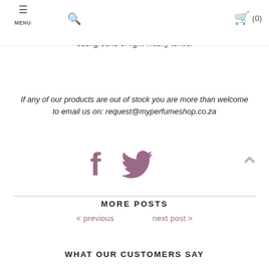MENU | search | cart (0)
heart of the fragrance, mixed with watery accords of morning dew er ang-ylang flowers. Top notes of pear and seed also contribute to its freshness, while developing background of light musky tones.
If any of our products are out of stock you are more than welcome to email us on: request@myperfumeshop.co.za
[Figure (other): Facebook and Twitter social share icons in purple/mauve color, and an upward chevron arrow in light pink]
MORE POSTS
< previous   next post >
WHAT OUR CUSTOMERS SAY